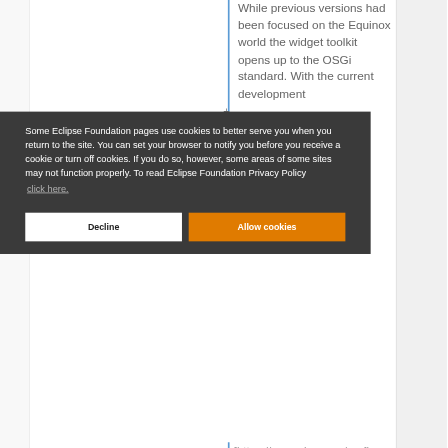While previous versions had been focused on the Equinox world the widget toolkit opens up to the OSGi standard. With the current development
Some Eclipse Foundation pages use cookies to better serve you when you return to the site. You can set your browser to notify you before you receive a cookie or turn off cookies. If you do so, however, some areas of some sites may not function properly. To read Eclipse Foundation Privacy Policy click here.
Decline
Allow cookies
[https://www.xing.com/profi